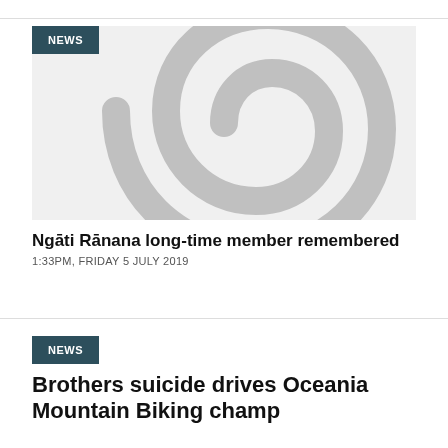[Figure (illustration): News article thumbnail showing a grey koru (Maori spiral) symbol on a light grey background with a NEWS badge in the top-left corner]
Ngāti Rānana long-time member remembered
1:33PM, FRIDAY 5 JULY 2019
NEWS
Brothers suicide drives Oceania Mountain Biking champ